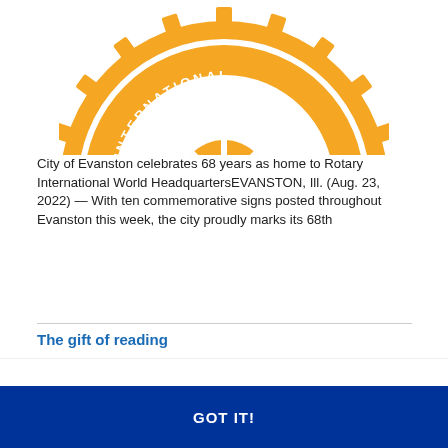[Figure (logo): Rotary International gear/cog logo in orange/gold color, partially visible showing the top portion with 'INTERNATIONAL' text along the gear ring]
City of Evanston celebrates 68 years as home to Rotary International World HeadquartersEVANSTON, Ill. (Aug. 23, 2022) — With ten commemorative signs posted throughout Evanston this week, the city proudly marks its 68th
The gift of reading
This website uses cookies to ensure you get the best experience on our website. Learn more
GOT IT!